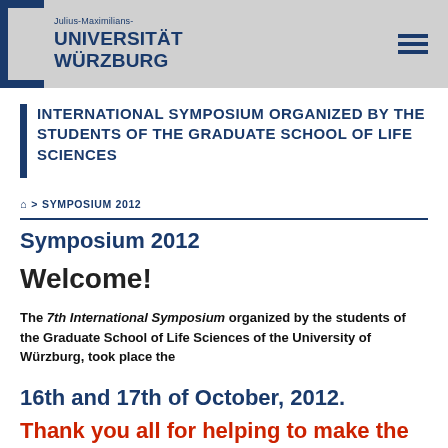[Figure (logo): Julius-Maximilians-Universität Würzburg logo with blue bracket and text on grey header bar, with hamburger menu icon on right]
INTERNATIONAL SYMPOSIUM ORGANIZED BY THE STUDENTS OF THE GRADUATE SCHOOL OF LIFE SCIENCES
🏠 > SYMPOSIUM 2012
Symposium 2012
Welcome!
The 7th International Symposium organized by the students of the Graduate School of Life Sciences of the University of Würzburg, took place the
16th and 17th of October, 2012.
Thank you all for helping to make the